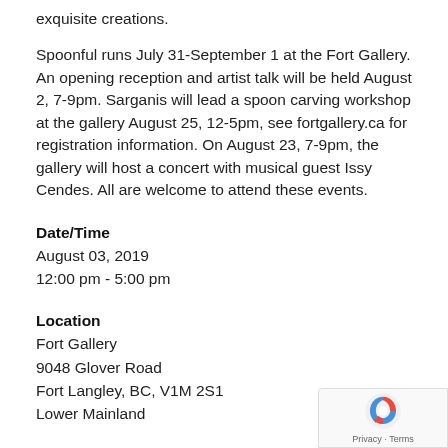exquisite creations.
Spoonful runs July 31-September 1 at the Fort Gallery. An opening reception and artist talk will be held August 2, 7-9pm. Sarganis will lead a spoon carving workshop at the gallery August 25, 12-5pm, see fortgallery.ca for registration information. On August 23, 7-9pm, the gallery will host a concert with musical guest Issy Cendes. All are welcome to attend these events.
Date/Time
August 03, 2019
12:00 pm - 5:00 pm
Location
Fort Gallery
9048 Glover Road
Fort Langley, BC, V1M 2S1
Lower Mainland